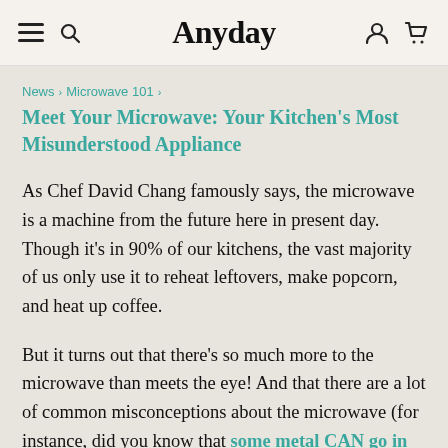Anyday
News > Microwave 101 > Meet Your Microwave: Your Kitchen's Most Misunderstood Appliance
As Chef David Chang famously says, the microwave is a machine from the future here in present day. Though it's in 90% of our kitchens, the vast majority of us only use it to reheat leftovers, make popcorn, and heat up coffee.
But it turns out that there's so much more to the microwave than meets the eye! And that there are a lot of common misconceptions about the microwave (for instance, did you know that some metal CAN go in the microwave?!) Here are our favorite game-